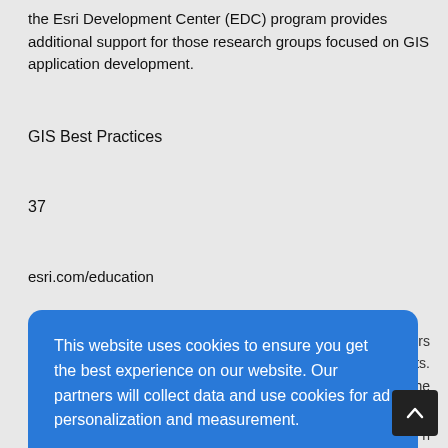the Esri Development Center (EDC) program provides additional support for those research groups focused on GIS application development.
GIS Best Practices
37
esri.com/education
...hers ...ats. ...the ...S. ...n ...ouncil ...carbon dioxide (CO2) emissions at higher spatial and temporal scales than ever before. The project's spatial component called for
[Figure (screenshot): Cookie consent modal dialog with blue background. Text reads: 'This website uses cookies to ensure you get the best experience on our website. Our partners will collect data and use cookies for ad personalization and measurement.' followed by a link 'Learn how we and our partners collect and use data.' and an OK button.]